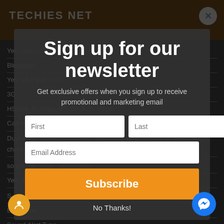TECHIES NET
Sign up for our newsletter
Get exclusive offers when you sign up to receive promotional and marketing email
First | Last | Email Address
Subscribe
No Thanks!